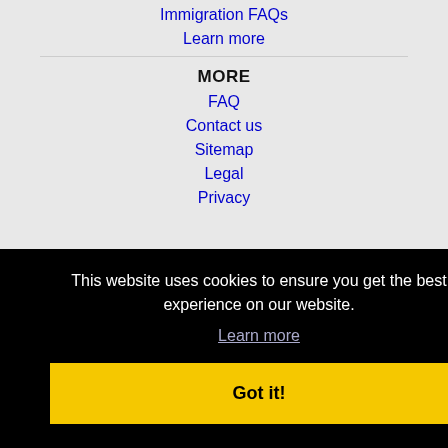Immigration FAQs
Learn more
MORE
FAQ
Contact us
Sitemap
Legal
Privacy
This website uses cookies to ensure you get the best experience on our website.
Learn more
Got it!